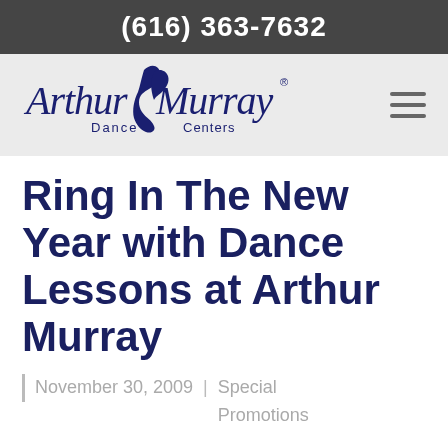(616) 363-7632
[Figure (logo): Arthur Murray Dance Centers logo with stylized dancer silhouette in dark navy blue]
Ring In The New Year with Dance Lessons at Arthur Murray
November 30, 2009 | Special Promotions